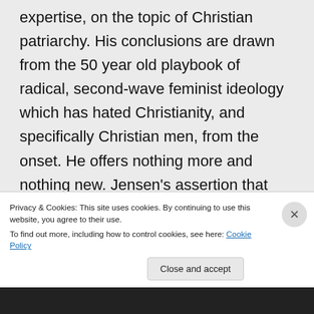expertise, on the topic of Christian patriarchy. His conclusions are drawn from the 50 year old playbook of radical, second-wave feminist ideology which has hated Christianity, and specifically Christian men, from the onset. He offers nothing more and nothing new. Jensen's assertion that men who practice patriarchy are “enslaving” others is as preposterous
Privacy & Cookies: This site uses cookies. By continuing to use this website, you agree to their use.
To find out more, including how to control cookies, see here: Cookie Policy